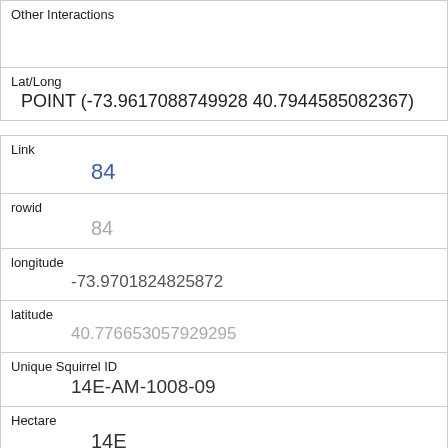| Other Interactions |  |
| Lat/Long | POINT (-73.9617088749928 40.7944585082367) |
| Link | 84 |
| rowid | 84 |
| longitude | -73.9701824825872 |
| latitude | 40.776653057929295 |
| Unique Squirrel ID | 14E-AM-1008-09 |
| Hectare | 14E |
| Shift | AM |
| Date |  |